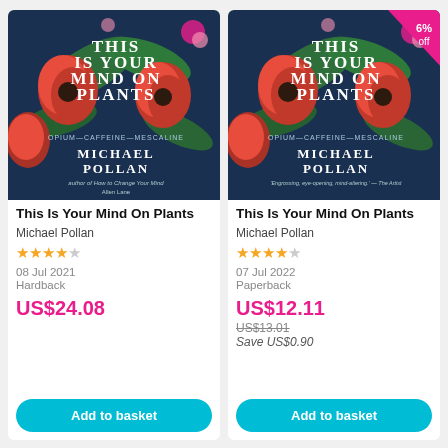[Figure (illustration): Book cover of 'This Is Your Mind On Plants' by Michael Pollan — dark navy background with red poppies and green leaves, pink flowers. Text: THIS IS YOUR MIND ON PLANTS, OPIUM—CAFFEINE—MESCALINE, MICHAEL POLLAN, author of How to Change Your Mind, Allen Lane]
This Is Your Mind On Plants
Michael Pollan
★★★★☆ (3.5 stars)
08 Jul 2021
Hardback
US$24.08
Add to basket
[Figure (illustration): Book cover of 'This Is Your Mind On Plants' by Michael Pollan (paperback edition) — same dark navy background with red poppies and green leaves, pink flowers. 6% off badge in top-right corner. Text: THIS IS YOUR MIND ON PLANTS, OPIUM—CAFFEINE—MESCALINE, MICHAEL POLLAN]
This Is Your Mind On Plants
Michael Pollan
★★★★☆ (3.5 stars)
07 Jul 2022
Paperback
US$12.11
US$13.01
Save US$0.90
Add to basket